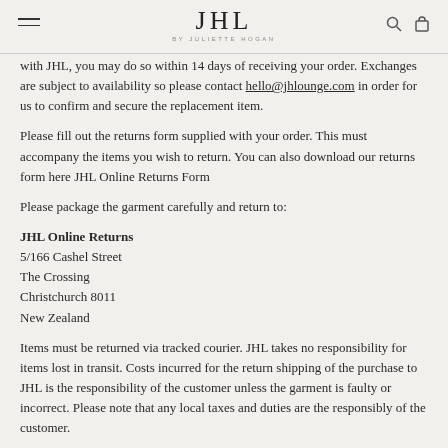JHL BY JULIETTE HOGAN
with JHL, you may do so within 14 days of receiving your order. Exchanges are subject to availability so please contact hello@jhlounge.com in order for us to confirm and secure the replacement item.
Please fill out the returns form supplied with your order. This must accompany the items you wish to return. You can also download our returns form here JHL Online Returns Form
Please package the garment carefully and return to:
JHL Online Returns
5/166 Cashel Street
The Crossing
Christchurch 8011
New Zealand
Items must be returned via tracked courier. JHL takes no responsibility for items lost in transit. Costs incurred for the return shipping of the purchase to JHL is the responsibility of the customer unless the garment is faulty or incorrect. Please note that any local taxes and duties are the responsibly of the customer.
Once the return is received by JHL, it will undergo a quality control check